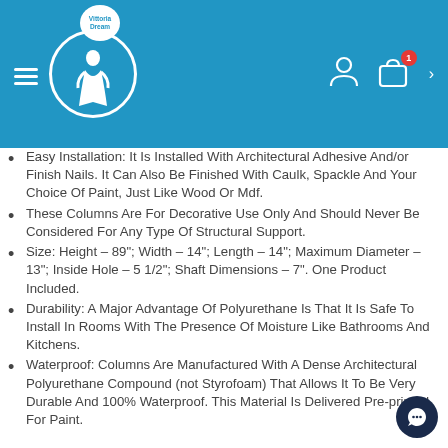[Figure (logo): Vittoria Dream logo with girl silhouette in circle and speech bubble, blue header with hamburger menu, user icon, shopping bag with badge '1', and chevron]
Easy Installation: It Is Installed With Architectural Adhesive And/or Finish Nails. It Can Also Be Finished With Caulk, Spackle And Your Choice Of Paint, Just Like Wood Or Mdf.
These Columns Are For Decorative Use Only And Should Never Be Considered For Any Type Of Structural Support.
Size: Height – 89"; Width – 14"; Length – 14"; Maximum Diameter – 13"; Inside Hole – 5 1/2"; Shaft Dimensions – 7". One Product Included.
Durability: A Major Advantage Of Polyurethane Is That It Is Safe To Install In Rooms With The Presence Of Moisture Like Bathrooms And Kitchens.
Waterproof: Columns Are Manufactured With A Dense Architectural Polyurethane Compound (not Styrofoam) That Allows It To Be Very Durable And 100% Waterproof. This Material Is Delivered Pre-primed For Paint.